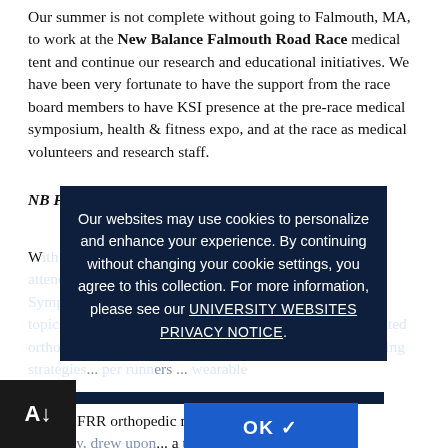Our summer is not complete without going to Falmouth, MA, to work at the New Balance Falmouth Road Race medical tent and continue our research and educational initiatives. We have been very fortunate to have the support from the race board members to have KSI presence at the pre-race medical symposium, health & fitness expo, and at the race as medical volunteers and research staff.
NB Falmouth Road Race Medical Symposium
With a host of over ... physicians in attendance ... Symposium focused on clinically relevant topics including recognition and treatment of running-related orthopedic injuries, physiological concerns when developing strategies ... per runners ... wearable technology...
[Figure (screenshot): Cookie consent overlay popup on dark navy background reading: 'Our websites may use cookies to personalize and enhance your experience. By continuing without changing your cookie settings, you agree to this collection. For more information, please see our UNIVERSITY WEBSITES PRIVACY NOTICE.' with an OK button with checkmark.]
...ran NB FRR orthopedic medical provider, Dr. Don O'...alley, drew upon ... a thorough review of his top 10 running ... injuries. Dr. William...